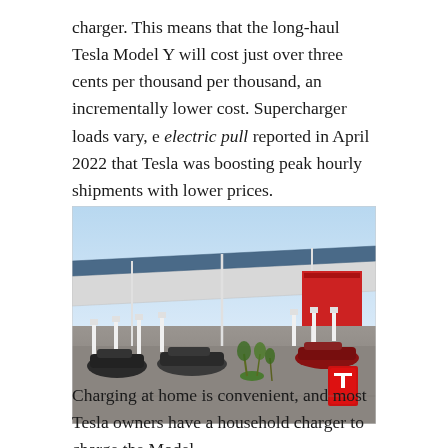charger. This means that the long-haul Tesla Model Y will cost just over three cents per thousand per thousand, an incrementally lower cost. Supercharger loads vary, e electric pull reported in April 2022 that Tesla was boosting peak hourly shipments with lower prices.
[Figure (photo): Aerial view of a Tesla Supercharger station with a large white canopy roof, multiple white charging stalls, several Tesla vehicles parked and charging, palm trees in the landscaping, and a red Tesla logo sign in the foreground. The background shows a clear blue sky.]
Charging at home is convenient, and most Tesla owners have a household charger to charge the Model